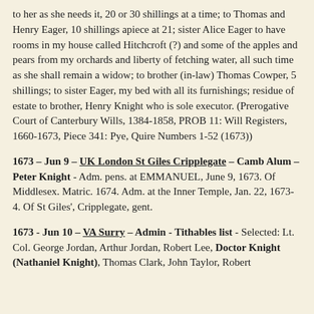to her as she needs it, 20 or 30 shillings at a time; to Thomas and Henry Eager, 10 shillings apiece at 21; sister Alice Eager to have rooms in my house called Hitchcroft (?) and some of the apples and pears from my orchards and liberty of fetching water, all such time as she shall remain a widow; to brother (in-law) Thomas Cowper, 5 shillings; to sister Eager, my bed with all its furnishings; residue of estate to brother, Henry Knight who is sole executor. (Prerogative Court of Canterbury Wills, 1384-1858, PROB 11: Will Registers, 1660-1673, Piece 341: Pye, Quire Numbers 1-52 (1673))
1673 – Jun 9 – UK London St Giles Cripplegate – Camb Alum – Peter Knight - Adm. pens. at EMMANUEL, June 9, 1673. Of Middlesex. Matric. 1674. Adm. at the Inner Temple, Jan. 22, 1673-4. Of St Giles', Cripplegate, gent.
1673 - Jun 10 – VA Surry – Admin - Tithables list - Selected: Lt. Col. George Jordan, Arthur Jordan, Robert Lee, Doctor Knight (Nathaniel Knight), Thomas Clark, John Taylor, Robert